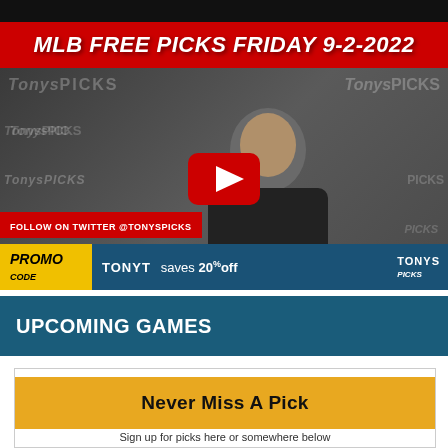[Figure (screenshot): YouTube video thumbnail showing a man in front of TonysPicks branded backdrop with red title banner 'MLB FREE PICKS FRIDAY 9-2-2022', YouTube play button, Twitter follow banner, and promo code bar at bottom]
UPCOMING GAMES
Never Miss A Pick
Sign up for picks here or somewhere below